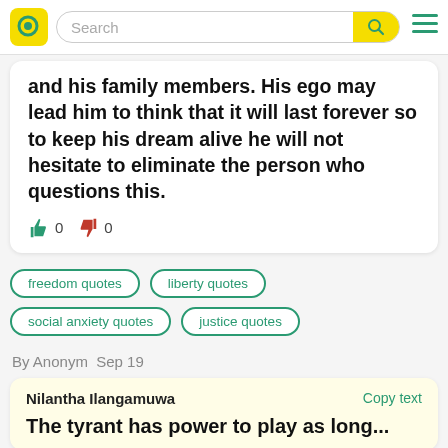[Figure (screenshot): Website header with yellow Q logo, search bar with yellow search button, and green hamburger menu icon]
and his family members. His ego may lead him to think that it will last forever so to keep his dream alive he will not hesitate to eliminate the person who questions this.
0  0 (thumbs up and thumbs down vote counts)
freedom quotes
liberty quotes
social anxiety quotes
justice quotes
By Anonym  Sep 19
Nilantha Ilangamuwa
Copy text
The tyrant has power to play as long...